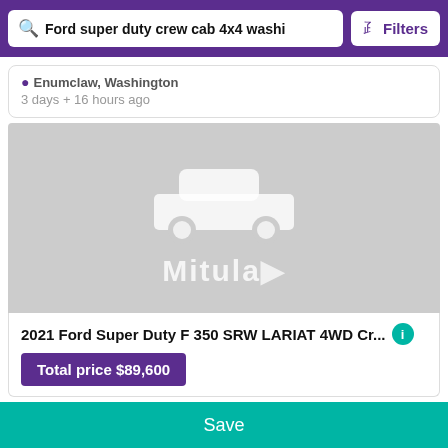Ford super duty crew cab 4x4 washingtc   Filters
Enumclaw, Washington
3 days + 16 hours ago
[Figure (logo): Mitula car listing placeholder image with white car silhouette and Mitula logo watermark on gray background]
2021 Ford Super Duty F 350 SRW LARIAT 4WD Cr...
Total price $89,600
Save